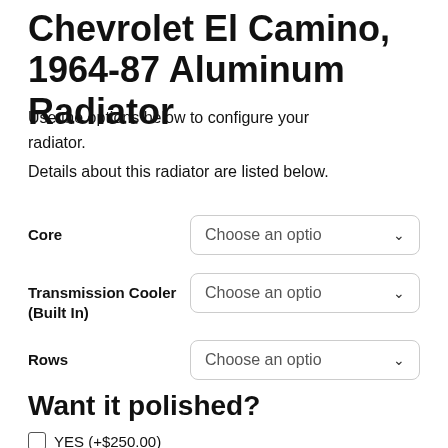Chevrolet El Camino, 1964-87 Aluminum Radiator
Use the options below to configure your radiator.
Details about this radiator are listed below.
Core — Choose an option
Transmission Cooler (Built In) — Choose an option
Rows — Choose an option
Want it polished?
YES (+$250.00)